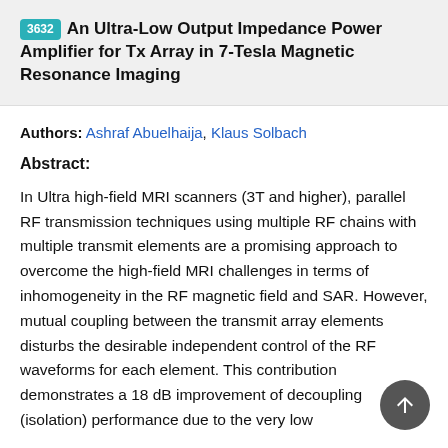3632 An Ultra-Low Output Impedance Power Amplifier for Tx Array in 7-Tesla Magnetic Resonance Imaging
Authors: Ashraf Abuelhaija, Klaus Solbach
Abstract:
In Ultra high-field MRI scanners (3T and higher), parallel RF transmission techniques using multiple RF chains with multiple transmit elements are a promising approach to overcome the high-field MRI challenges in terms of inhomogeneity in the RF magnetic field and SAR. However, mutual coupling between the transmit array elements disturbs the desirable independent control of the RF waveforms for each element. This contribution demonstrates a 18 dB improvement of decoupling (isolation) performance due to the very low